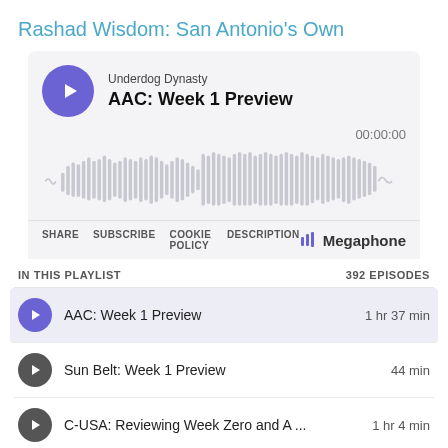Rashad Wisdom: San Antonio's Own
[Figure (screenshot): Podcast player widget showing 'Underdog Dynasty - AAC: Week 1 Preview' with waveform visualization, share/subscribe/cookie policy/description toolbar, and playlist listing with AAC Week 1 Preview (1 hr 37 min), Sun Belt Week 1 Preview (44 min), C-USA Reviewing Week Zero and A ... (1 hr 4 min), showing 392 episodes total via Megaphone]
IN THIS PLAYLIST	392 EPISODES
AAC: Week 1 Preview	1 hr 37 min
Sun Belt: Week 1 Preview	44 min
C-USA: Reviewing Week Zero and A ...	1 hr 4 min